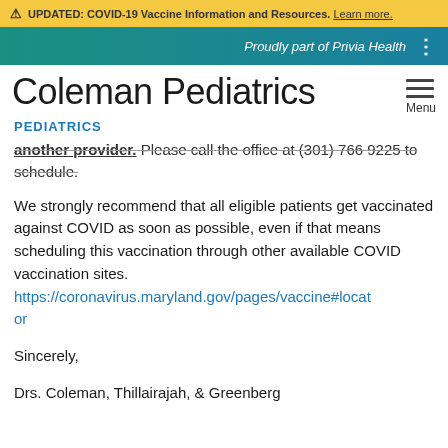UPDATED: COVID-19 Vaccine Information and Resources. Learn more.
Proudly part of Privia Health
Coleman Pediatrics
PEDIATRICS
another provider. Please call the office at (301) 766 9225 to schedule.
We strongly recommend that all eligible patients get vaccinated against COVID as soon as possible, even if that means scheduling this vaccination through other available COVID vaccination sites. https://coronavirus.maryland.gov/pages/vaccine#locator
Sincerely,
Drs. Coleman, Thillairajah, & Greenberg